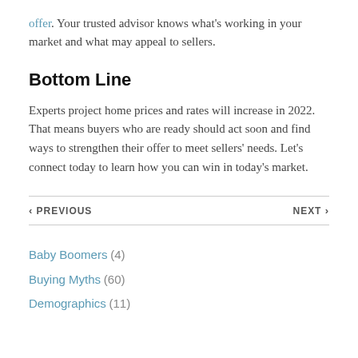offer. Your trusted advisor knows what's working in your market and what may appeal to sellers.
Bottom Line
Experts project home prices and rates will increase in 2022. That means buyers who are ready should act soon and find ways to strengthen their offer to meet sellers' needs. Let's connect today to learn how you can win in today's market.
‹ PREVIOUS   NEXT ›
Baby Boomers (4)
Buying Myths (60)
Demographics (11)